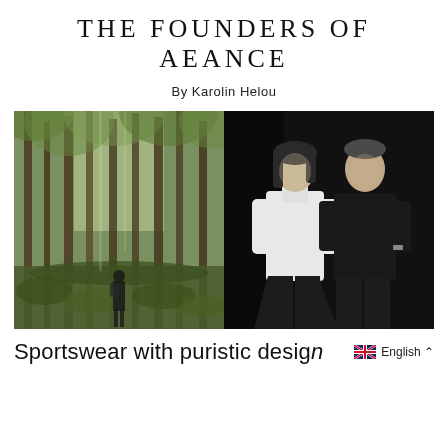THE FOUNDERS OF AEANCE
By Karolin Helou
[Figure (photo): Left: a person hiking through a dense green forest with tall trees. Right: black and white portrait of two founders of Aeance, a woman in white turtleneck and dark wide-leg trousers and a man in a black t-shirt and dark trousers, standing together against a dark background.]
Sportswear with puristic design
English